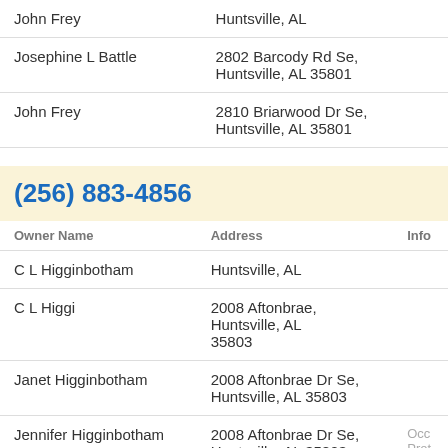| Owner Name | Address |
| --- | --- |
| John Frey | Huntsville, AL |
| Josephine L Battle | 2802 Barcody Rd Se, Huntsville, AL 35801 |
| John Frey | 2810 Briarwood Dr Se, Huntsville, AL 35801 |
(256) 883-4856
| Owner Name | Address | Info |
| --- | --- | --- |
| C L Higginbotham | Huntsville, AL |  |
| C L Higgi | 2008 Aftonbrae, Huntsville, AL 35803 |  |
| Janet Higginbotham | 2008 Aftonbrae Dr Se, Huntsville, AL 35803 |  |
| Jennifer Higginbotham | 2008 Aftonbrae Dr Se, Huntsville, AL 35803 | Occ Prof
Edu High |
| C I Higginbotham | 2008 Aftonbrae Dr Se, Huntsville, AL 35803 |  |
| C I Higgi | 2008 Aftonbrae Dr Se, |  |